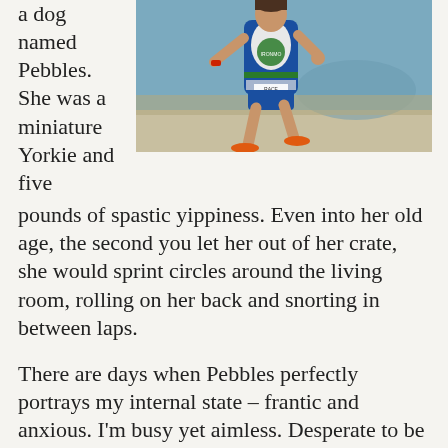a dog named Pebbles. She was a miniature Yorkie and five
[Figure (photo): A female triathlete runner in a blue and white racing kit with race number, arms pumping, running outdoors.]
pounds of spastic yippiness. Even into her old age, the second you let her out of her crate, she would sprint circles around the living room, rolling on her back and snorting in between laps.
There are days when Pebbles perfectly portrays my internal state – frantic and anxious. I'm busy yet aimless. Desperate to be purposeful and in control, I find myself chasing the wind of my shifting desires. Mentally I'm circling. I jump compulsively to reach elusive standards I've set for myself based on comparison and Instagram.